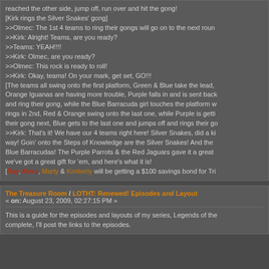reached the other side, jump off, run over and hit the gong!
[Kirk rings the Silver Snakes' gong]
>>Olmec: The 1st 4 teams to ring their gongs will go on to the next roun...
>>Kirk: Alright! Teams, are you ready?
>>Teams: YEAH!!!!
>>Kirk: Olmec, are you ready?
>>Olmec: This rock is ready to roll!
>>Kirk: Okay, teams! On your mark, get set, GO!!!
[The teams all swing onto the first platform, Green & Blue take the lead, Orange Iguanas are having more trouble, Purple falls in and is sent back... and ring their gong, while the Blue Barracuda girl touches the platform w... rings in 2nd, Red & Orange swing onto the last one, while Purple is getti... their gong next, Blue gets to the last one and jumps off and rings their go...
>>Kirk: That's it! We have our 4 teams right here! Silver Snakes, did a ki... way! Goin' onto the Steps of Knowledge are the Silver Snakes! And the ... Blue Barracudas! The Purple Parrots & the Red Jaguars gave it a great ... we've got a great gift for 'em, and here's what it is!
[Ray, Alexa, Marty & Kimberly will be getting a $100 savings bond for Tri...
The Treasure Room / LOTHT: Renewed! Episodes and Layout...
« on: August 23, 2009, 02:27:15 PM »
This is a guide for the episodes and layouts of my series, Legends of the... complete, I'll post the links to the episodes.